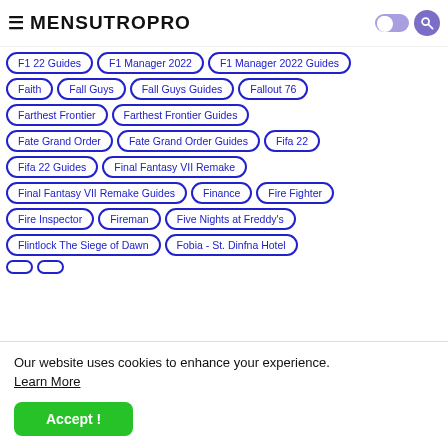MENSUTROPRO
F1 22 Guides
F1 Manager 2022
F1 Manager 2022 Guides
Faith
Fall Guys
Fall Guys Guides
Fallout 76
Farthest Frontier
Farthest Frontier Guides
Fate Grand Order
Fate Grand Order Guides
Fifa 22
Fifa 22 Guides
Final Fantasy VII Remake
Final Fantasy VII Remake Guides
Finance
Fire Fighter
Fire Inspector
Fireman
Five Nights at Freddy's
Flintlock The Siege of Dawn
Fobia - St. Dinfna Hotel
Our website uses cookies to enhance your experience. Learn More
Accept !